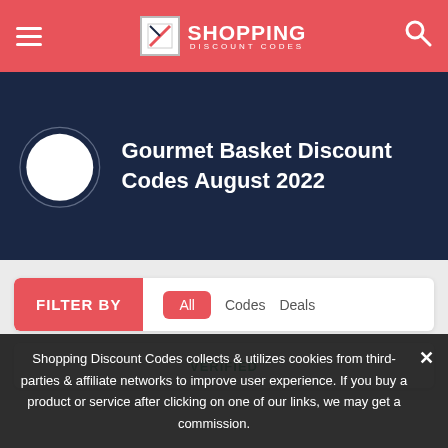Shopping Discount Codes
Gourmet Basket Discount Codes August 2022
FILTER BY  All  Codes  Deals
VERIFIED
Shopping Discount Codes collects & utilizes cookies from third-parties & affiliate networks to improve user experience. If you buy a product or service after clicking on one of our links, we may get a commission.